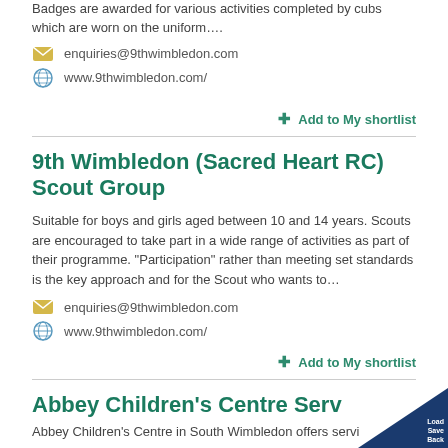Badges are awarded for various activities completed by cubs which are worn on the uniform….
enquiries@9thwimbledon.com
www.9thwimbledon.com/
+ Add to My shortlist
9th Wimbledon (Sacred Heart RC) Scout Group
Suitable for boys and girls aged between 10 and 14 years. Scouts are encouraged to take part in a wide range of activities as part of their programme. "Participation" rather than meeting set standards is the key approach and for the Scout who wants to…
enquiries@9thwimbledon.com
www.9thwimbledon.com/
+ Add to My shortlist
Abbey Children's Centre Serv
Abbey Children's Centre in South Wimbledon offers servi